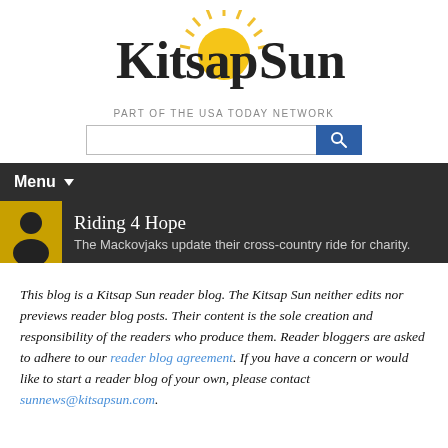[Figure (logo): Kitsap Sun newspaper logo with sun graphic]
PART OF THE USA TODAY NETWORK
[Figure (other): Search bar with text input and blue search button]
Menu
Riding 4 Hope
The Mackovjaks update their cross-country ride for charity.
This blog is a Kitsap Sun reader blog. The Kitsap Sun neither edits nor previews reader blog posts. Their content is the sole creation and responsibility of the readers who produce them. Reader bloggers are asked to adhere to our reader blog agreement. If you have a concern or would like to start a reader blog of your own, please contact sunnews@kitsapsun.com.